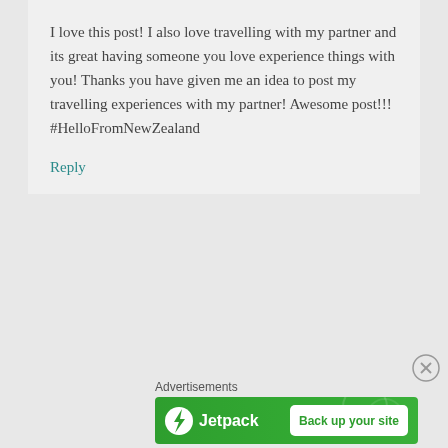I love this post! I also love travelling with my partner and its great having someone you love experience things with you! Thanks you have given me an idea to post my travelling experiences with my partner! Awesome post!!! #HelloFromNewZealand
Reply
Advertisements
[Figure (screenshot): Jetpack advertisement banner with green background, Jetpack logo and lightning bolt icon on left, white button reading 'Back up your site' on right]